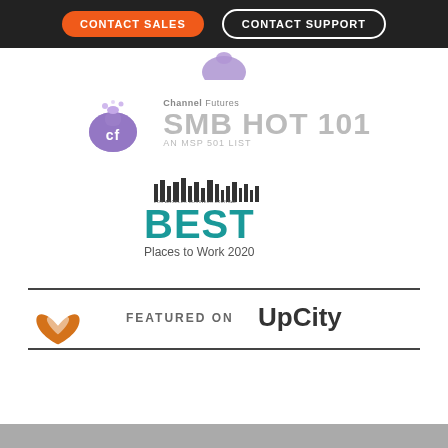[Figure (other): Navigation bar with CONTACT SALES (orange button) and CONTACT SUPPORT (dark outlined button) on dark background]
[Figure (logo): Channel Futures SMB HOT 101 AN MSP 501 LIST badge with purple CF icon]
[Figure (logo): Los Angeles Business Journal BEST Places to Work 2020 logo with city skyline graphic]
[Figure (logo): FEATURED ON UpCity badge with orange pretzel/circle icon]